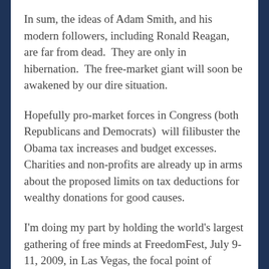In sum, the ideas of Adam Smith, and his modern followers, including Ronald Reagan, are far from dead.  They are only in hibernation.  The free-market giant will soon be awakened by our dire situation.
Hopefully pro-market forces in Congress (both Republicans and Democrats)  will filibuster the Obama tax increases and budget excesses.  Charities and non-profits are already up in arms about the proposed limits on tax deductions for wealthy donations for good causes.
I'm doing my part by holding the world's largest gathering of free minds at FreedomFest, July 9-11, 2009, in Las Vegas, the focal point of liberty.  For details, go to...